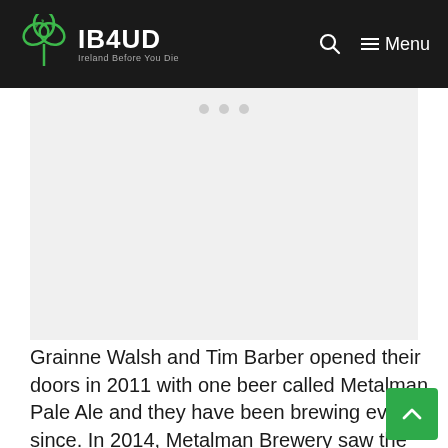IB4UD — Ireland Before You Die
[Figure (photo): Image placeholder with three grey dots indicating a loading or carousel image area]
Grainne Walsh and Tim Barber opened their doors in 2011 with one beer called Metalman Pale Ale and they have been brewing ever since. In 2014, Metalman Brewery saw the arrival of the very first canning line at an Irish craft brewery...